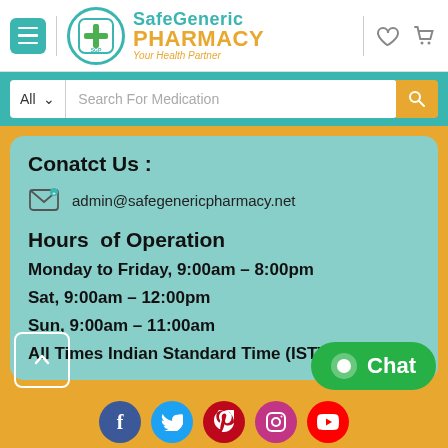[Figure (logo): SafeGeneric Pharmacy logo with teal circle containing a cross, teal and orange text reading SafeGeneric PHARMACY, tagline Your Health Partner]
Search For Medication
Conatct Us :
admin@safegenericpharmacy.net
Hours of Operation
Monday to Friday, 9:00am - 8:00pm
Sat, 9:00am - 12:00pm
Sun, 9:00am - 11:00am
All Times Indian Standard Time (IST)